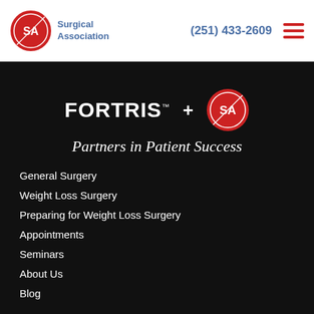Surgical Association | (251) 433-2609
[Figure (logo): Fortris + Surgical Association logo with tagline 'Partners in Patient Success']
General Surgery
Weight Loss Surgery
Preparing for Weight Loss Surgery
Appointments
Seminars
About Us
Blog